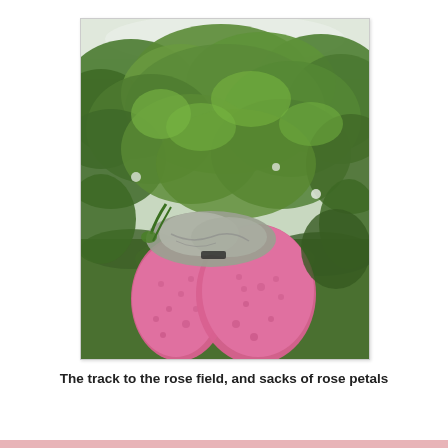[Figure (photo): Two large pink sacks filled with rose petals leaning against lush green rose bushes on a path to a rose field. A grey cloth or jacket is draped over the sacks.]
The track to the rose field, and sacks of rose petals